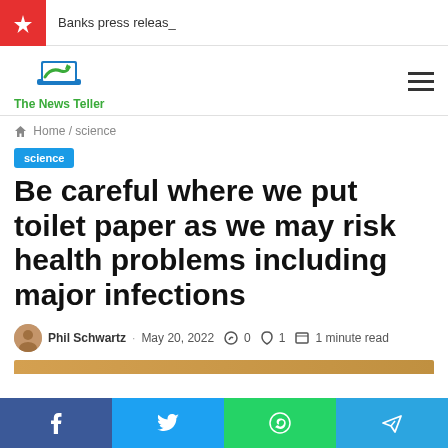Banks press releas_
[Figure (logo): The News Teller logo — laptop icon in blue/green with text 'The News Teller' in green]
Home / science
science
Be careful where we put toilet paper as we may risk health problems including major infections
Phil Schwartz · May 20, 2022 · 0 · 1 · 1 minute read